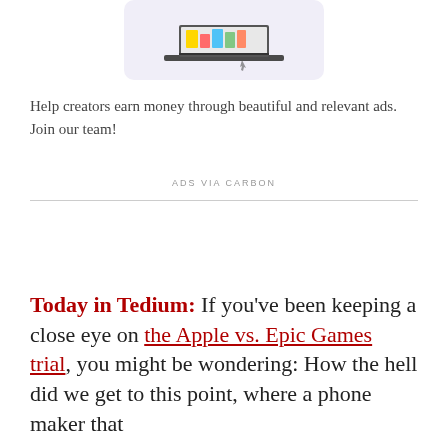[Figure (illustration): Colorful illustration of a laptop with books and items on a purple/lavender rounded background]
Help creators earn money through beautiful and relevant ads. Join our team!
ADS VIA CARBON
Today in Tedium: If you've been keeping a close eye on the Apple vs. Epic Games trial, you might be wondering: How the hell did we get to this point, where a phone maker that